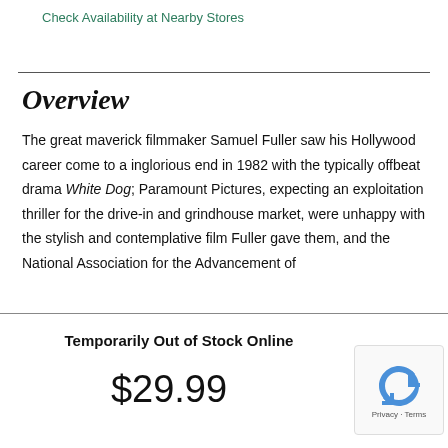Check Availability at Nearby Stores
Overview
The great maverick filmmaker Samuel Fuller saw his Hollywood career come to a inglorious end in 1982 with the typically offbeat drama White Dog; Paramount Pictures, expecting an exploitation thriller for the drive-in and grindhouse market, were unhappy with the stylish and contemplative film Fuller gave them, and the National Association for the Advancement of
Temporarily Out of Stock Online
$29.99